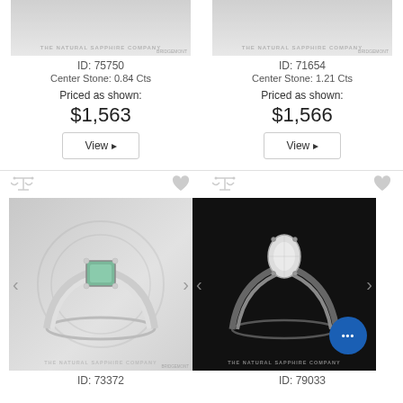[Figure (photo): Top portion of a ring product image with The Natural Sapphire Company watermark, product ID 75750]
ID: 75750
Center Stone: 0.84 Cts
Priced as shown:
$1,563
View ▶
[Figure (photo): Top portion of a ring product image with The Natural Sapphire Company watermark, product ID 71654]
ID: 71654
Center Stone: 1.21 Cts
Priced as shown:
$1,566
View ▶
[Figure (photo): Green sapphire solitaire ring on white/grey background, The Natural Sapphire Company watermark, navigation arrows visible]
ID: 73372
[Figure (photo): White diamond solitaire ring on black background, The Natural Sapphire Company watermark, navigation arrows and chat button visible]
ID: 79033